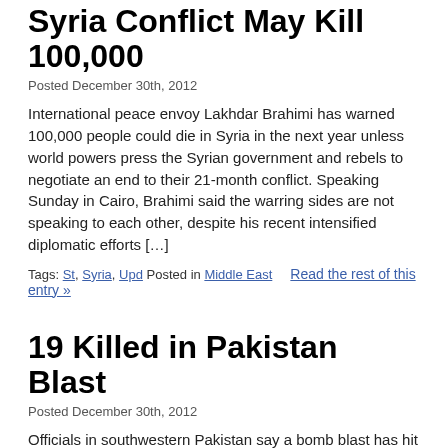Syria Conflict May Kill 100,000
Posted December 30th, 2012
International peace envoy Lakhdar Brahimi has warned 100,000 people could die in Syria in the next year unless world powers press the Syrian government and rebels to negotiate an end to their 21-month conflict. Speaking Sunday in Cairo, Brahimi said the warring sides are not speaking to each other, despite his recent intensified diplomatic efforts […]
Tags: St, Syria, Upd Posted in Middle East    Read the rest of this entry »
19 Killed in Pakistan Blast
Posted December 30th, 2012
Officials in southwestern Pakistan say a bomb blast has hit a convoy of three buses, killing at least 19 Shi'ite Muslim pilgrims. Authorities say 25 other people were wounded Sunday – some